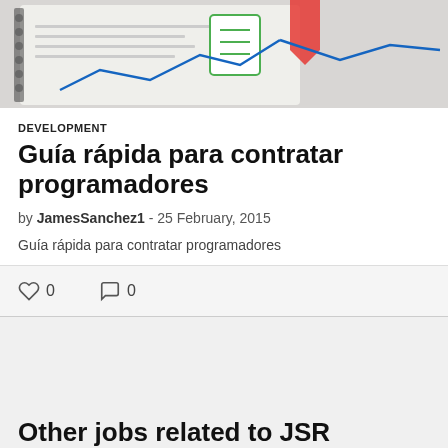[Figure (photo): Top portion of a blog post card showing a photo of notebooks, charts and documents on a desk]
DEVELOPMENT
Guía rápida para contratar programadores
by JamesSanchez1 - 25 February, 2015
Guía rápida para contratar programadores
0  0
Other jobs related to  JSR